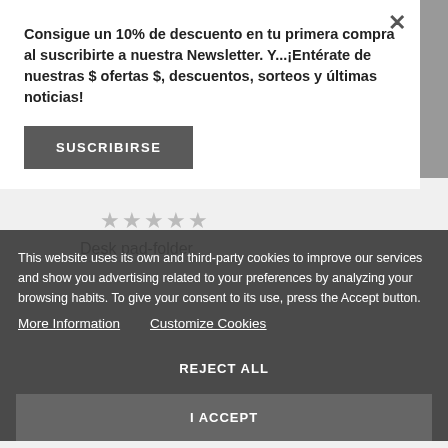Consigue un 10% de descuento en tu primera compra al suscribirte a nuestra Newsletter. Y...¡Entérate de nuestras $ ofertas $, descuentos, sorteos y últimas noticias!
SUSCRIBIRSE
Desk pad-folder
This website uses its own and third-party cookies to improve our services and show you advertising related to your preferences by analyzing your browsing habits. To give your consent to its use, press the Accept button.
More Information
Customize Cookies
REJECT ALL
I ACCEPT
Entregamos todos los pedidos a partir del 22 de agosto